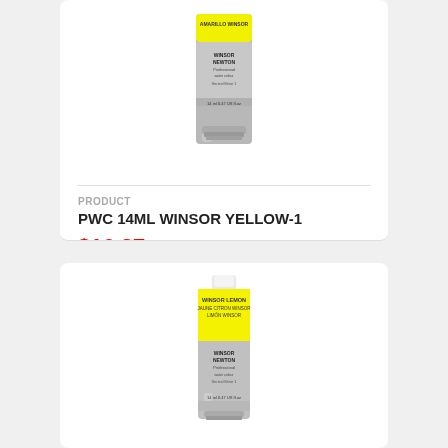[Figure (photo): Winsor & Newton Professional watercolour tube, silver tube with yellow cap label reading AMARILLO WINSOR, 14ml 0.47 US fl oz]
PRODUCT
PWC 14ML WINSOR YELLOW-1
$16.27 $21.69
[Figure (photo): Winsor & Newton Professional watercolour tube, silver tube with white cap and yellow label reading WINSOR LEMON / JAUNE CITRON WINSOR / LIMON WINSOR, 14ml 0.47 US fl oz]